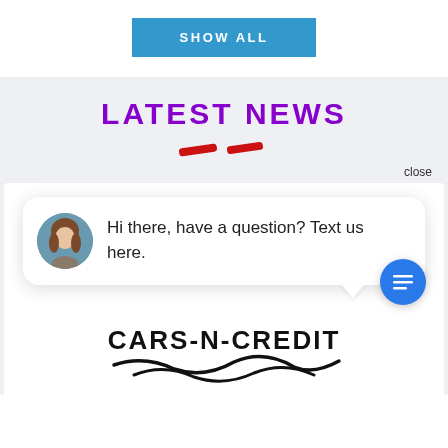SHOW ALL
LATEST NEWS
[Figure (illustration): Two red diagonal dash/stripe decorative elements centered below the LATEST NEWS heading]
close
[Figure (screenshot): Chat popup card with a woman's avatar photo and text: Hi there, have a question? Text us here. Blue circle chat button in bottom right.]
[Figure (logo): Cars-N-Credit logo with stylized script underline flourish]